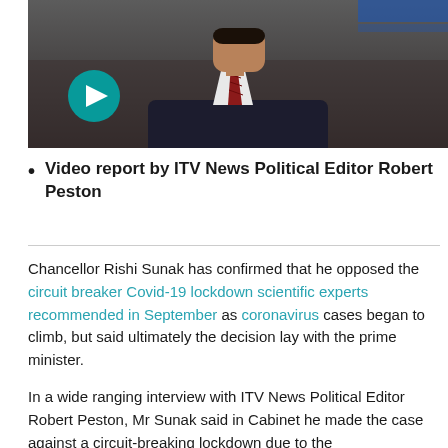[Figure (photo): Video thumbnail showing a man in a dark suit with a red tie, with a teal play button overlay in the lower left of the image.]
Video report by ITV News Political Editor Robert Peston
Chancellor Rishi Sunak has confirmed that he opposed the circuit breaker Covid-19 lockdown scientific experts recommended in September as coronavirus cases began to climb, but said ultimately the decision lay with the prime minister.
In a wide ranging interview with ITV News Political Editor Robert Peston, Mr Sunak said in Cabinet he made the case against a circuit-breaking lockdown due to the